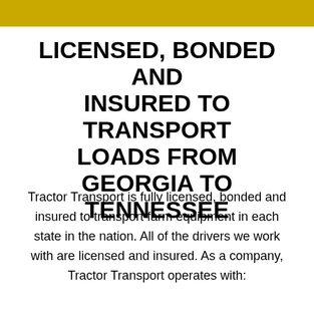LICENSED, BONDED AND INSURED TO TRANSPORT LOADS FROM GEORGIA TO TENNESSEE
Tractor Transport is fully licensed, bonded and insured to transport farm equipment in each state in the nation. All of the drivers we work with are licensed and insured. As a company, Tractor Transport operates with: